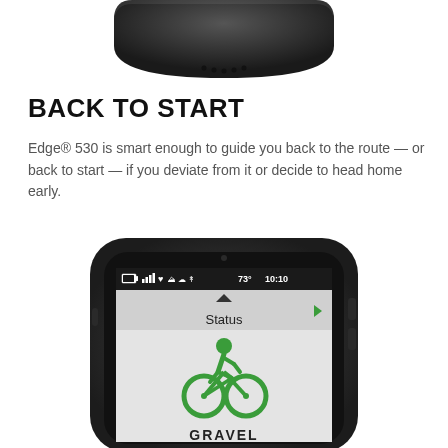[Figure (photo): Bottom portion of a Garmin Edge 530 GPS bike computer device, showing the rounded black casing from the top/bottom edge]
BACK TO START
Edge® 530 is smart enough to guide you back to the route — or back to start — if you deviate from it or decide to head home early.
[Figure (screenshot): Garmin Edge 530 device showing a screen with Status menu and a green cyclist/gravel icon. Status bar shows battery, signal, heart, and other icons, temperature 73°, time 10:10. Screen shows a green bicycle rider icon and partial text 'GRAVEL' at bottom.]